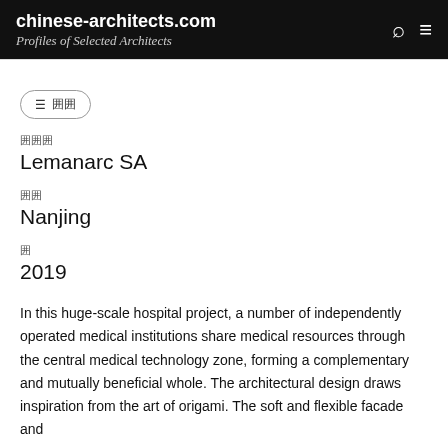chinese-architects.com Profiles of Selected Architects
囲囲
囲囲囲
Lemanarc SA
囲囲
Nanjing
囲
2019
In this huge-scale hospital project, a number of independently operated medical institutions share medical resources through the central medical technology zone, forming a complementary and mutually beneficial whole. The architectural design draws inspiration from the art of origami. The soft and flexible facade and